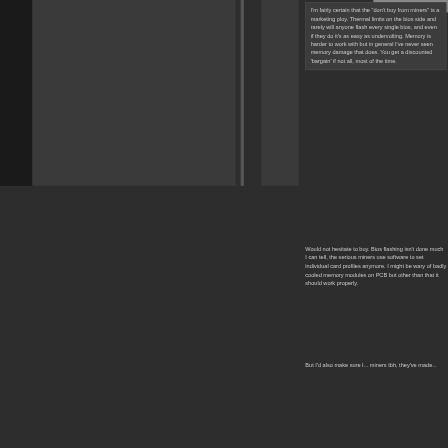I'm fairly certain that the "don't buy from miners" is a marketing ploy. Thermal limits on the bios side and rarely will anyone flash every single bios, and even if they do it's as easy as undervolting. Memory is harder to work with but in general I've never seen memory damage that does. You get a discounted 'bargain' if not all, most of the time.
Would not hesitate to buy. Bios flashing isn't done much I can tell, the serious miners use software to set individual card profiles anymore. I might be wary of badly cooled memory modules on PCB but other than that it should work properly.
But I'd also make sure I... miners tbh, they've made...